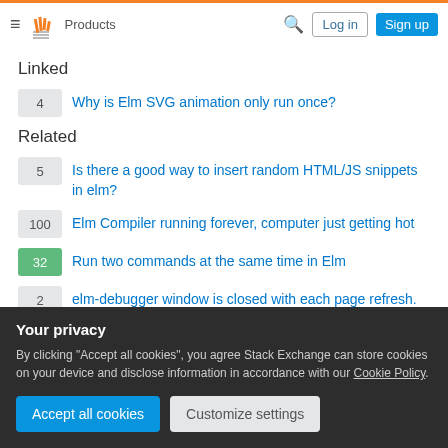≡ [Stack Overflow logo] Products 🔍 Log in Sign up
Linked
4  Why is Elm SVG animation only run once?
Related
5  Is there a good way to insert random HTML/JS snippets in elm?
100  Elm Compiler running forever, computer just getting hot
32  Run two commands at the same time in Elm
2  elm-debugger window is closed with each page refresh. How to
Your privacy
By clicking "Accept all cookies", you agree Stack Exchange can store cookies on your device and disclose information in accordance with our Cookie Policy.
Accept all cookies  Customize settings